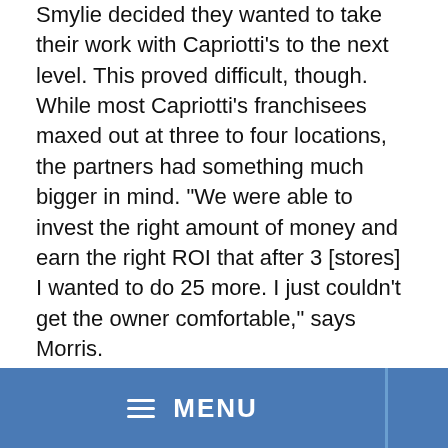Smylie decided they wanted to take their work with Capriotti's to the next level. This proved difficult, though. While most Capriotti's franchisees maxed out at three to four locations, the partners had something much bigger in mind. "We were able to invest the right amount of money and earn the right ROI that after 3 [stores] I wanted to do 25 more. I just couldn't get the owner comfortable," says Morris.
Frustrated, Morris eventually proposed buying Margolet out entirely. After getting external funding, "we had a meeting, sat her down and wouldn't take no for an answer until we got a price." That transaction closed in January 2008.
As CEO for the past nine-plus years, Morris has built the foundation for a successful national franchise, much of
≡ MENU